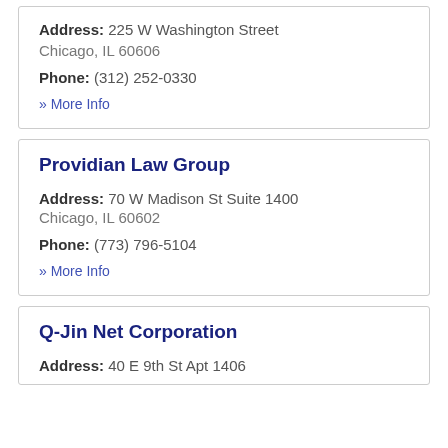Address: 225 W Washington Street Chicago, IL 60606
Phone: (312) 252-0330
» More Info
Providian Law Group
Address: 70 W Madison St Suite 1400 Chicago, IL 60602
Phone: (773) 796-5104
» More Info
Q-Jin Net Corporation
Address: 40 E 9th St Apt 1406